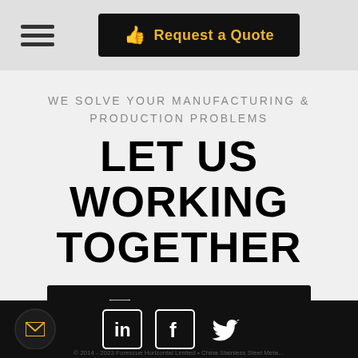Request a Quote
WE SOLVE YOUR MANUFACTURING & PRODUCTION PROBLEMS
LET US WORKING TOGETHER
EMAIL TO US
Social icons: LinkedIn, Facebook, Twitter